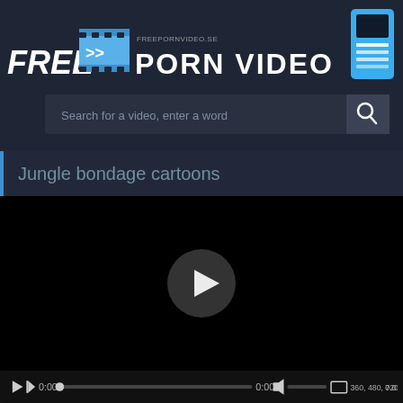[Figure (screenshot): Website header with FREE PORN VIDEO logo, film icon, and mobile phone icon]
Search for a video, enter a word
Jungle bondage cartoons
[Figure (screenshot): Video player with black background and circular play button in center]
0:00   0:00   360, 480, 720   0.0